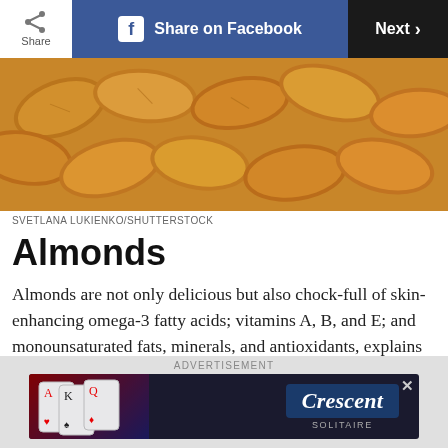Share | Share on Facebook | Next >
[Figure (photo): Close-up photo of raw almonds piled together, golden brown color]
SVETLANA LUKIENKO/SHUTTERSTOCK
Almonds
Almonds are not only delicious but also chock-full of skin-enhancing omega-3 fatty acids; vitamins A, B, and E; and monounsaturated fats, minerals, and antioxidants, explains Dendy Engelman, MD, a dermatologist at Manhattan Dermatology and Cosmetic Surgery. "Without them, the skin
[Figure (screenshot): Advertisement banner for Crescent Solitaire game with playing cards imagery]